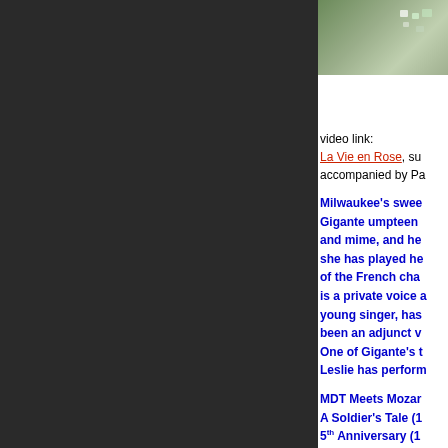[Figure (photo): Partial photo visible at top right, showing a greenish/outdoor scene with some colored objects, cropped at page edge.]
video link:
La Vie en Rose, su accompanied by Pa
Milwaukee's swee Gigante umpteen and mime, and he she has played he of the French cha is a private voice a young singer, has been an adjunct v One of Gigante's t Leslie has perform
MDT Meets Mozar A Soldier's Tale (1 5th Anniversary (1